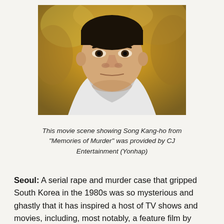[Figure (photo): Close-up portrait of Song Kang-ho from the movie 'Memories of Murder', a Korean man in a white garment against a warm golden-orange blurred background.]
This movie scene showing Song Kang-ho from "Memories of Murder" was provided by CJ Entertainment (Yonhap)
Seoul: A serial rape and murder case that gripped South Korea in the 1980s was so mysterious and ghastly that it has inspired a host of TV shows and movies, including, most notably, a feature film by Cannes-winning director Bong Joon-ho.
"Memories of Murder" released in 2003, was then-novice